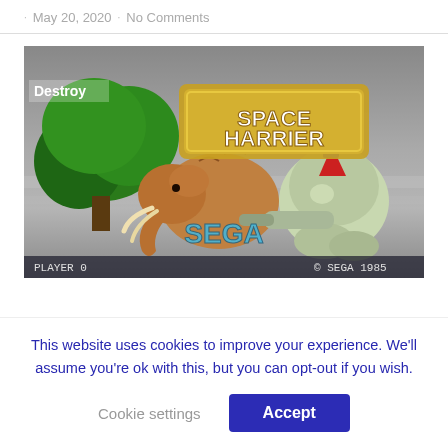· May 20, 2020 · No Comments
[Figure (screenshot): Space Harrier video game screenshot showing a mammoth enemy, a robot mech with a cannon, a character riding on top, green trees, SEGA logo, 'Destroy' label in top-left, 'SPACE HARRIER' gold title in center-top, 'PLAYER 0' and '© SEGA 1985' text at bottom.]
This website uses cookies to improve your experience. We'll assume you're ok with this, but you can opt-out if you wish.
Cookie settings
Accept